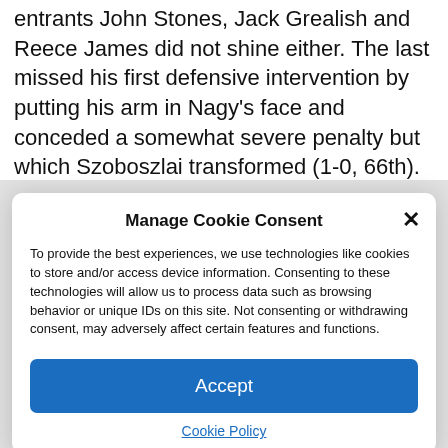entrants John Stones, Jack Grealish and Reece James did not shine either. The last missed his first defensive intervention by putting his arm in Nagy's face and conceded a somewhat severe penalty but which Szoboszlai transformed (1-0, 66th).
Manage Cookie Consent
To provide the best experiences, we use technologies like cookies to store and/or access device information. Consenting to these technologies will allow us to process data such as browsing behavior or unique IDs on this site. Not consenting or withdrawing consent, may adversely affect certain features and functions.
Accept
Cookie Policy